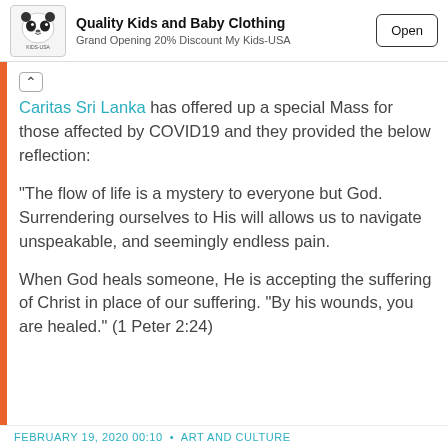[Figure (screenshot): Advertisement banner: panda logo for 'Quality Kids and Baby Clothing', tagline 'Grand Opening 20% Discount My Kids-USA', with 'Open' button]
Caritas Sri Lanka has offered up a special Mass for those affected by COVID19 and they provided the below reflection:
“The flow of life is a mystery to everyone but God. Surrendering ourselves to His will allows us to navigate unspeakable, and seemingly endless pain.
When God heals someone, He is accepting the suffering of Christ in place of our suffering. “By his wounds, you are healed.” (1 Peter 2:24)
FEBRUARY 19, 2020 00:10  •  ART AND CULTURE